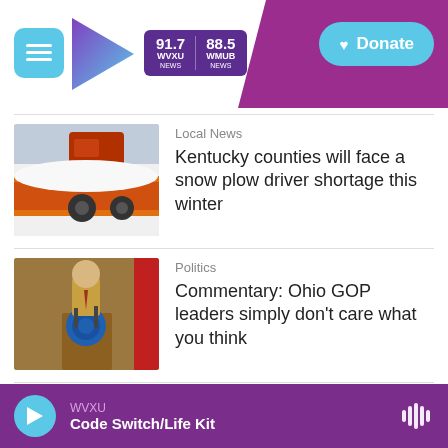WVXU 91.7 NEWS | WMUB 88.5 NEWS | Donate
[Figure (photo): Snow plow truck clearing snow, orange blade visible]
Local News
Kentucky counties will face a snow plow driver shortage this winter
[Figure (photo): Politician speaking at podium with blue seal]
Politics
Commentary: Ohio GOP leaders simply don't care what you think
[Figure (photo): Government building exterior, stone facade]
Local News
Hamilton Co. made it easier to file
WVXU | Code Switch/Life Kit